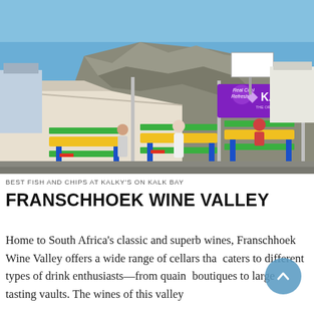[Figure (photo): Outdoor fish and chips restaurant 'Kalky's' at Kalk Bay, with colorful picnic tables (yellow, green, blue, red), people dining, a purple KALKY'S branded banner, and a rocky mountain in the background under a blue sky.]
BEST FISH AND CHIPS AT KALKY'S ON KALK BAY
FRANSCHHOEK WINE VALLEY
Home to South Africa's classic and superb wines, Franschhoek Wine Valley offers a wide range of cellars that caters to different types of drink enthusiasts—from quaint boutiques to large tasting vaults. The wines of this valley